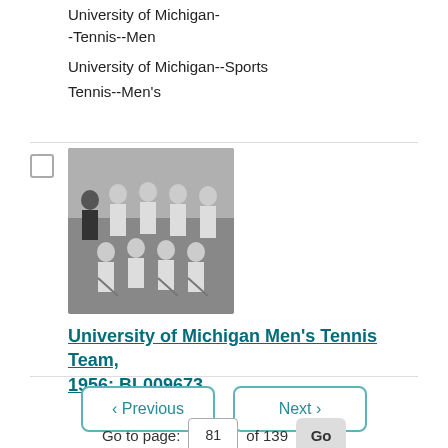University of Michigan--Tennis--Men
University of Michigan--Sports
Tennis--Men's
[Figure (photo): Black and white team photograph of the University of Michigan Men's Tennis Team, 1956. Shows two rows of men in tennis attire, with one man in a suit on the left of the back row.]
University of Michigan Men's Tennis Team, 1956; BL009673
< Previous   Next >
Go to page: 81 of 139 Go